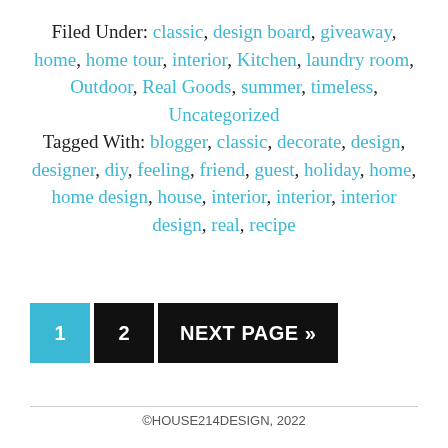Filed Under: classic, design board, giveaway, home, home tour, interior, Kitchen, laundry room, Outdoor, Real Goods, summer, timeless, Uncategorized
Tagged With: blogger, classic, decorate, design, designer, diy, feeling, friend, guest, holiday, home, home design, house, interior, interior, interior design, real, recipe
1  2  NEXT PAGE »
©HOUSE214DESIGN, 2022